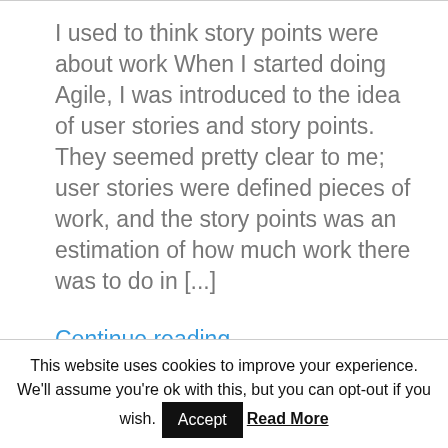I used to think story points were about work When I started doing Agile, I was introduced to the idea of user stories and story points. They seemed pretty clear to me; user stories were defined pieces of work, and the story points was an estimation of how much work there was to do in [...]
Continue reading
This website uses cookies to improve your experience. We'll assume you're ok with this, but you can opt-out if you wish. Accept Read More